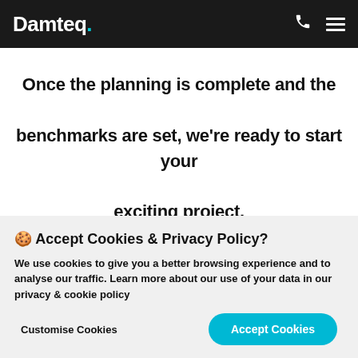Damteq.
Once the planning is complete and the benchmarks are set, we're ready to start your exciting project.
🍪 Accept Cookies & Privacy Policy?
We use cookies to give you a better browsing experience and to analyse our traffic. Learn more about our use of your data in our privacy & cookie policy
Customise Cookies  Accept Cookies